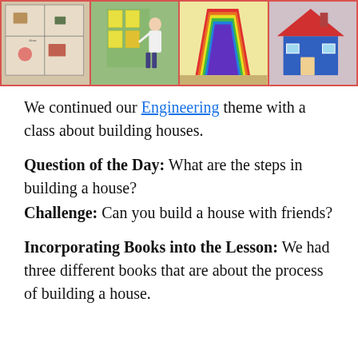[Figure (photo): A horizontal strip of four photos bordered in red: (1) a hand-drawn floor plan with craft objects, (2) a child painting on a wall mural with yellow and green shapes, (3) colorful rainbow-striped paper structure, (4) a small model house made from cardboard.]
We continued our Engineering theme with a class about building houses.
Question of the Day: What are the steps in building a house?
Challenge: Can you build a house with friends?
Incorporating Books into the Lesson: We had three different books that are about the process of building a house.